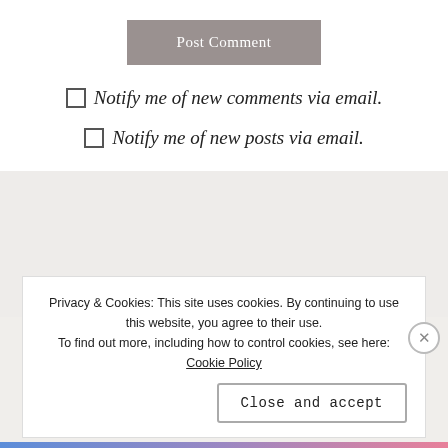Post Comment
☐ Notify me of new comments via email.
☐ Notify me of new posts via email.
SEARCH
Privacy & Cookies: This site uses cookies. By continuing to use this website, you agree to their use. To find out more, including how to control cookies, see here: Cookie Policy
Close and accept